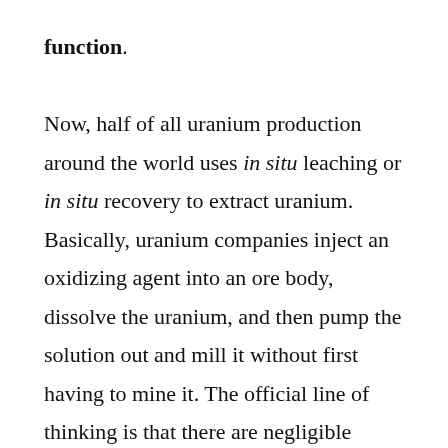function. Now, half of all uranium production around the world uses in situ leaching or in situ recovery to extract uranium. Basically, uranium companies inject an oxidizing agent into an ore body, dissolve the uranium, and then pump the solution out and mill it without first having to mine it. The official line of thinking is that there are negligible environmental impacts stemming from this form of extraction. It certainly